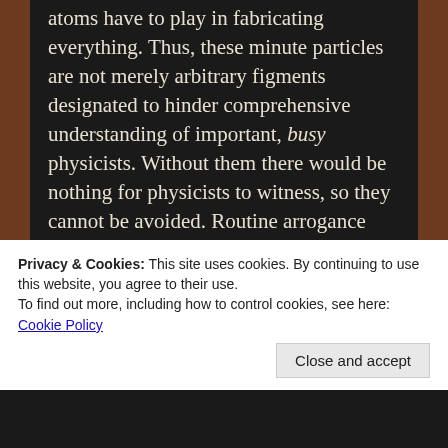atoms have to play in fabricating everything. Thus, these minute particles are not merely arbitrary figments designated to hinder comprehensive understanding of important, busy physicists. Without them there would be nothing for physicists to witness, so they cannot be avoided. Routine arrogance and presumptive bias summarises limited devotion to quantum illumination. Experiments are conducted in the usual way. Imperialists have been determined to solidify even the most microscopic components of the universe from the very outset. It seems to me that the strategy was “long view”, designing a
Privacy & Cookies: This site uses cookies. By continuing to use this website, you agree to their use.
To find out more, including how to control cookies, see here:
Cookie Policy